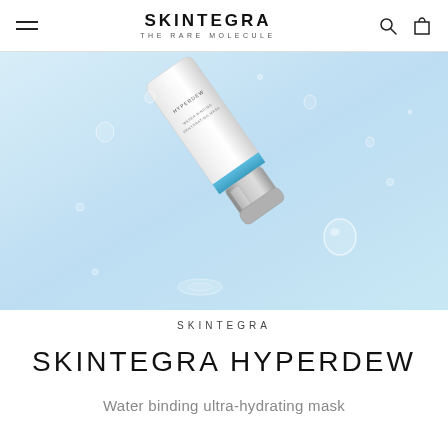SKINTEGRA | THE RARE MOLECULE
[Figure (photo): Skintegra Hyperdew water-binding hydrating mask tube product photo on light blue water background with water droplets]
SKINTEGRA
SKINTEGRA HYPERDEW
Water binding ultra-hydrating mask